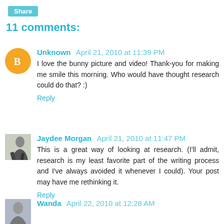11 comments:
Unknown April 21, 2010 at 11:39 PM
I love the bunny picture and video! Thank-you for making me smile this morning. Who would have thought research could do that? :)
Reply
Jaydee Morgan April 21, 2010 at 11:47 PM
This is a great way of looking at research. (I'll admit, research is my least favorite part of the writing process and I've always avoided it whenever I could). Your post may have me rethinking it.
Reply
Wanda April 22, 2010 at 12:28 AM